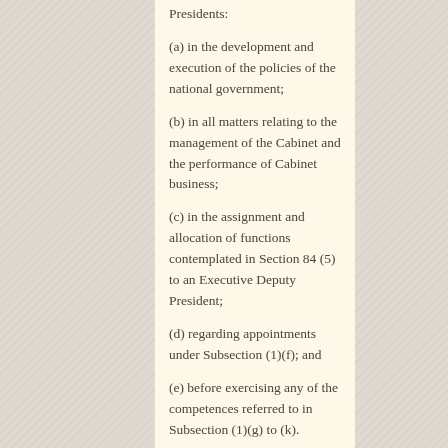Presidents:
(a) in the development and execution of the policies of the national government;
(b) in all matters relating to the management of the Cabinet and the performance of Cabinet business;
(c) in the assignment and allocation of functions contemplated in Section 84 (5) to an Executive Deputy President;
(d) regarding appointments under Subsection (1)(f); and
(e) before exercising any of the competences referred to in Subsection (1)(g) to (k).